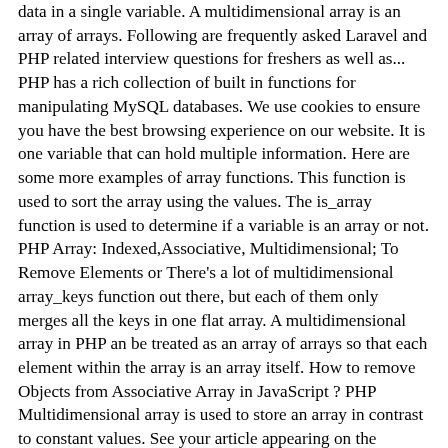data in a single variable. A multidimensional array is an array of arrays. Following are frequently asked Laravel and PHP related interview questions for freshers as well as... PHP has a rich collection of built in functions for manipulating MySQL databases. We use cookies to ensure you have the best browsing experience on our website. It is one variable that can hold multiple information. Here are some more examples of array functions. This function is used to sort the array using the values. The is_array function is used to determine if a variable is an array or not. PHP Array: Indexed,Associative, Multidimensional; To Remove Elements or There's a lot of multidimensional array_keys function out there, but each of them only merges all the keys in one flat array. A multidimensional array in PHP an be treated as an array of arrays so that each element within the array is an array itself. How to remove Objects from Associative Array in JavaScript ? PHP Multidimensional array is used to store an array in contrast to constant values. See your article appearing on the GeeksforGeeks main page and help other Geeks. How to execute PHP code using command line ? Creation: We can create a multidimensional associative array by mapping an array containing a set of key and value pairs to the parent key. Multidimensional associative array is often used to store data in group relation. PHP Indexed Array. Along with its versatility, arrays also can use a variety of functions. In this tutorial, we will show you how to convert PHP multidimensional or associative array to the XML file, and the